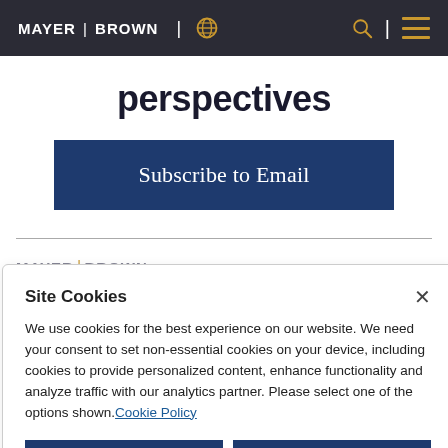MAYER | BROWN
perspectives
Subscribe to Email
[Figure (logo): Mayer Brown logo in footer area, partially visible]
Site Cookies
We use cookies for the best experience on our website. We need your consent to set non-essential cookies on your device, including cookies to provide personalized content, enhance functionality and analyze traffic with our analytics partner. Please select one of the options shown. Cookie Policy